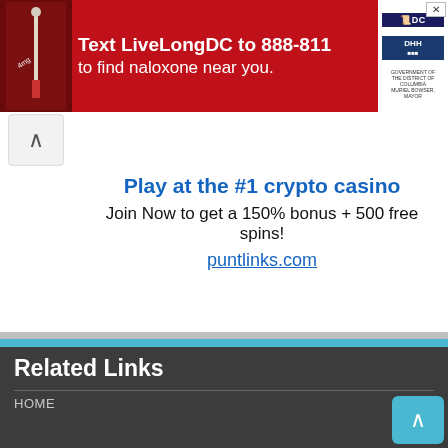[Figure (screenshot): Red advertisement banner: Text LiveLongDC to 888-811 to find naloxone near you, with DC and DHH logos]
[Figure (screenshot): Expand/collapse arrow button (chevron up)]
Play at the #1 crypto casino
Join Now to get a 150% bonus + 500 free spins!
puntlinks.com
Related Links
HOME
EXAM HELP
GUEST POSTING
About
Welcome to Lankatricks.com, This is ths Largest online education web site in Sri Lanka & popular educational web site among Sri Lankan students. Lankatricks